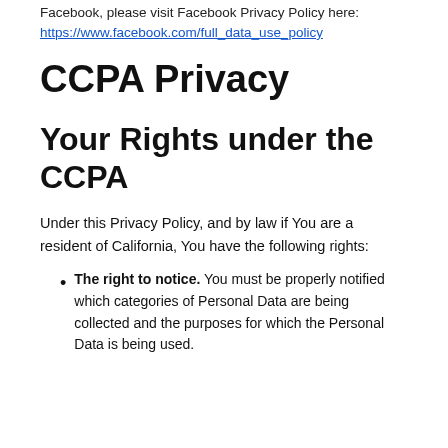Facebook, please visit Facebook Privacy Policy here:
https://www.facebook.com/full_data_use_policy
CCPA Privacy
Your Rights under the CCPA
Under this Privacy Policy, and by law if You are a resident of California, You have the following rights:
The right to notice. You must be properly notified which categories of Personal Data are being collected and the purposes for which the Personal Data is being used.